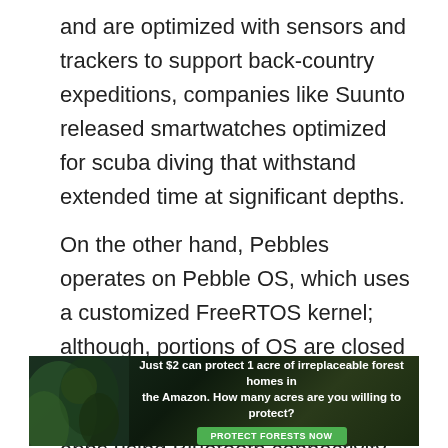and are optimized with sensors and trackers to support back-country expeditions, companies like Suunto released smartwatches optimized for scuba diving that withstand extended time at significant depths.
On the other hand, Pebbles operates on Pebble OS, which uses a customized FreeRTOS kernel; although, portions of OS are closed source. Pebble smartwatch also can communicate with Android and iOS apps using Bluetooth connectivity.
The Pebble smartwatch is no longer available in the
[Figure (infographic): Advertisement banner with dark forest background. Text reads: 'Just $2 can protect 1 acre of irreplaceable forest homes in the Amazon. How many acres are you willing to protect?' with a green 'PROTECT FORESTS NOW' button.]